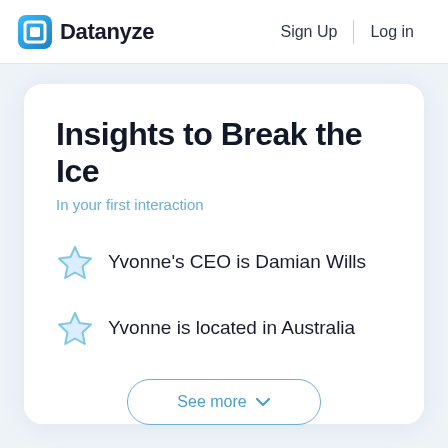Datanyze   Sign Up   Log in
Insights to Break the Ice
In your first interaction
Yvonne's CEO is Damian Wills
Yvonne is located in Australia
See more